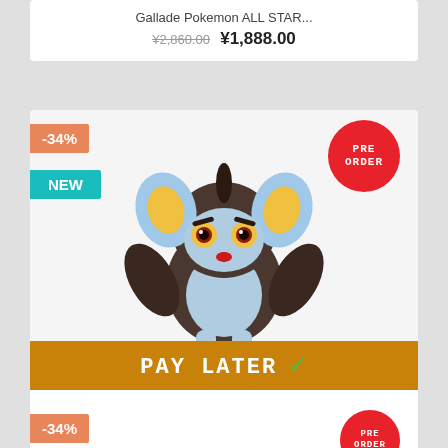Gallade Pokemon ALL STAR...
¥2,860.00 ¥1,888.00
[Figure (photo): Luxio Pokemon plush toy product listing with -34% discount badge, NEW badge, PRE ORDER badge, and PAY LATER banner]
Luxio Pokemon ALL STAR...
¥2,860.00 ¥1,888.00
-34% (partial card at bottom)